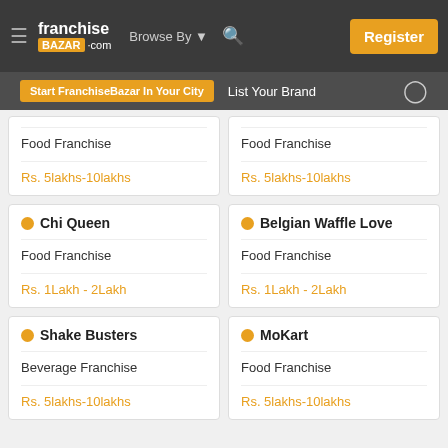franchise BAZAR .com | Browse By | Register
Start FranchiseBazar In Your City | List Your Brand
Food Franchise
Rs. 5lakhs-10lakhs
Food Franchise
Rs. 5lakhs-10lakhs
Chi Queen
Food Franchise
Rs. 1Lakh - 2Lakh
Belgian Waffle Love
Food Franchise
Rs. 1Lakh - 2Lakh
Shake Busters
Beverage Franchise
Rs. 5lakhs-10lakhs
MoKart
Food Franchise
Rs. 5lakhs-10lakhs